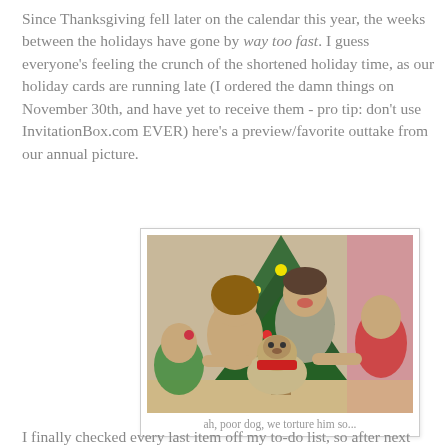Since Thanksgiving fell later on the calendar this year, the weeks between the holidays have gone by way too fast. I guess everyone's feeling the crunch of the shortened holiday time, as our holiday cards are running late (I ordered the damn things on November 30th, and have yet to receive them - pro tip: don't use InvitationBox.com EVER) here's a preview/favorite outtake from our annual picture.
[Figure (photo): Family photo in front of a Christmas tree: two adults and two children smiling, holding a pug dog wearing a red bandana.]
ah, poor dog, we torture him so...
I finally checked every last item off my to-do list, so after next